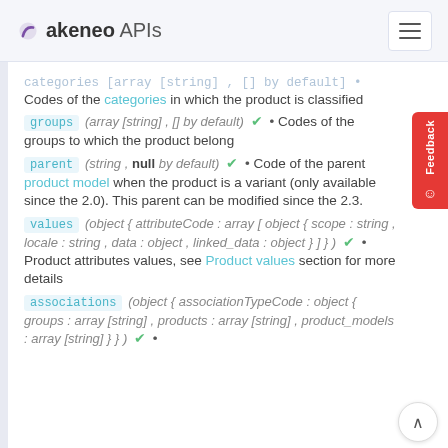akeneo APIs
categories [array [string] , [] by default) • Codes of the categories in which the product is classified
groups (array [string] , [] by default) ✓ • Codes of the groups to which the product belong
parent (string , null by default) ✓ • Code of the parent product model when the product is a variant (only available since the 2.0). This parent can be modified since the 2.3.
values (object { attributeCode : array [ object { scope : string , locale : string , data : object , linked_data : object } ] } ) ✓ • Product attributes values, see Product values section for more details
associations (object { associationTypeCode : object { groups : array [string] , products : array [string] , product_models : array [string] } } ) ✓ •